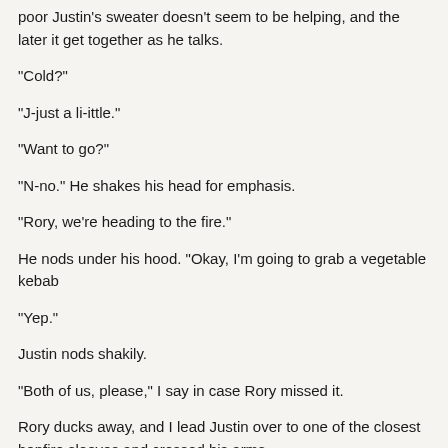poor Justin's sweater doesn't seem to be helping, and the later it get together as he talks.
“Cold?”
“J-just a li-ittle.”
“Want to go?”
“N-no.” He shakes his head for emphasis.
“Rory, we’re heading to the fire.”
He nods under his hood. “Okay, I’m going to grab a vegetable kebab
“Yep.”
Justin nods shakily.
“Both of us, please,” I say in case Rory missed it.
Rory ducks away, and I lead Justin over to one of the closest bonfire sleeves and crossed his arms.
“You going okay?”